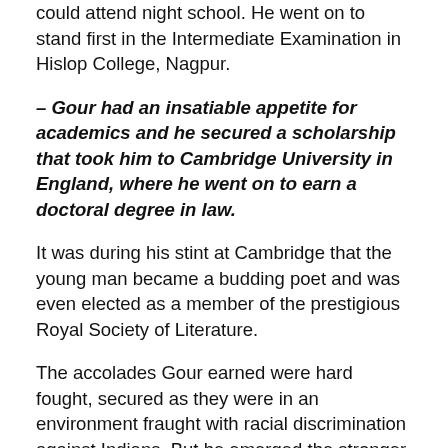could attend night school. He went on to stand first in the Intermediate Examination in Hislop College, Nagpur.
– Gour had an insatiable appetite for academics and he secured a scholarship that took him to Cambridge University in England, where he went on to earn a doctoral degree in law.
It was during his stint at Cambridge that the young man became a budding poet and was even elected as a member of the prestigious Royal Society of Literature.
The accolades Gour earned were hard fought, secured as they were in an environment fraught with racial discrimination against Indians. But he emerged the stronger for it and returned to practice law in Raipur, now the capital of